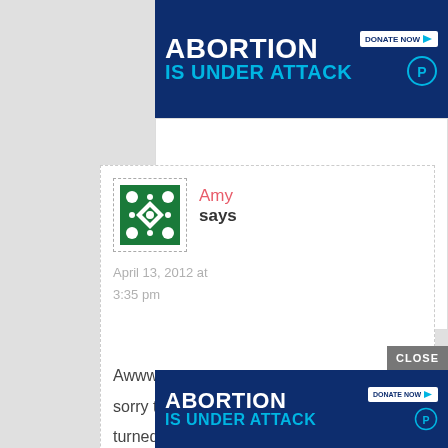[Figure (screenshot): Top banner ad: dark blue background with white bold text 'ABORTION' and cyan bold text 'IS UNDER ATTACK', a white 'DONATE NOW' button with cyan play arrow, and a cyan Planned Parenthood logo]
[Figure (illustration): Green geometric pattern avatar image — user icon for commenter Amy]
Amy
says
April 13, 2012 at 3:35 pm
Awww, sorry they turned out imperfect, but atleast
[Figure (screenshot): Bottom banner ad (same as top): dark blue background with white bold text 'ABORTION' and cyan bold text 'IS UNDER ATTACK', a white 'DONATE NOW' button with cyan play arrow, and a cyan Planned Parenthood logo. Has a grey 'CLOSE' button overlay in the top-right area.]